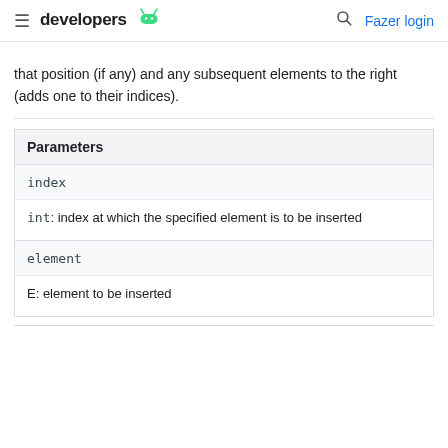developers [android logo] | Fazer login
that position (if any) and any subsequent elements to the right (adds one to their indices).
| Parameters |
| --- |
| index |  |
| int: index at which the specified element is to be inserted |  |
| element |  |
| E: element to be inserted |  |